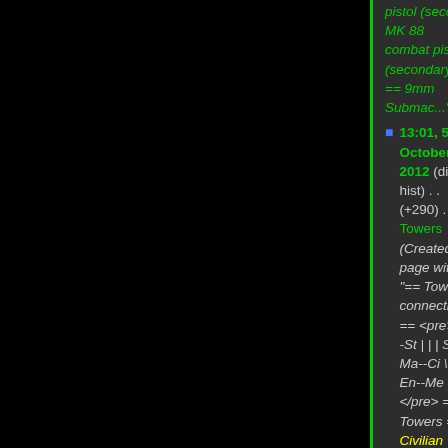pistol (secondary) * MK 88 combat pistol (secondary) == 9mm Submac...")
13:01, 5 October 2012 (diff | hist) . . (+290) . . N Towers (Created page with "== Tower connections == <pre> Mi--St | | | Se-- Ma--Ci \ | | En--Me </pre> == Towers == * Civilian